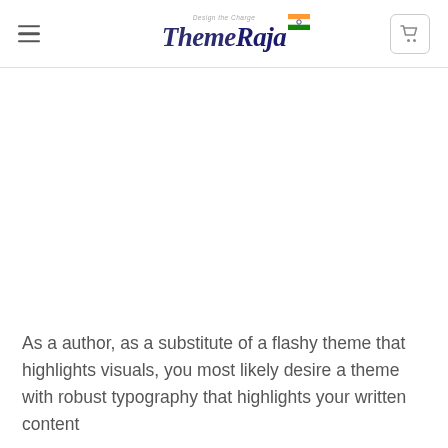ThemeRaja
As a author, as a substitute of a flashy theme that highlights visuals, you most likely desire a theme with robust typography that highlights your written content